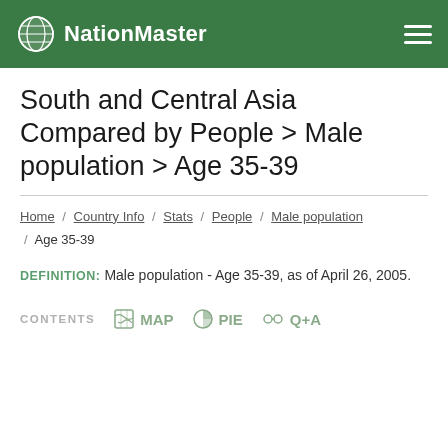NationMaster
South and Central Asia Compared by People > Male population > Age 35-39
Home / Country Info / Stats / People / Male population / Age 35-39
DEFINITION: Male population - Age 35-39, as of April 26, 2005.
CONTENTS  MAP  PIE  Q+A